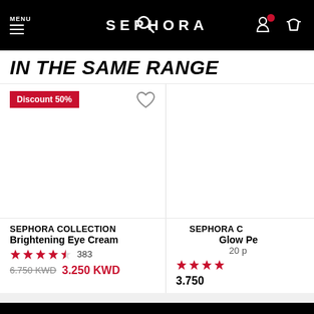MENU | SEPHORA
IN THE SAME RANGE
[Figure (screenshot): Product image area for Sephora Collection Brightening Eye Cream with Discount 50% badge and heart icon]
SEPHORA COLLECTION Brightening Eye Cream
383 reviews, 4.5 stars, original price 6.750 KWD, sale price 3.250 KWD
[Figure (screenshot): Partial product image for Sephora Collection Glow Pe... 20 p... with star rating and price 3.750]
ADD TO BASKET